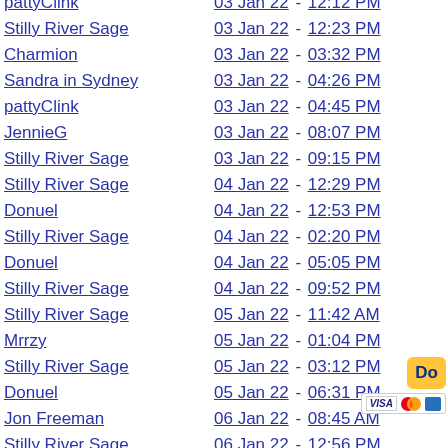pattyClink | 03 Jan 22 - 12:12 PM
Stilly River Sage | 03 Jan 22 - 12:23 PM
Charmion | 03 Jan 22 - 03:32 PM
Sandra in Sydney | 03 Jan 22 - 04:26 PM
pattyClink | 03 Jan 22 - 04:45 PM
JennieG | 03 Jan 22 - 08:07 PM
Stilly River Sage | 03 Jan 22 - 09:15 PM
Stilly River Sage | 04 Jan 22 - 12:29 PM
Donuel | 04 Jan 22 - 12:53 PM
Stilly River Sage | 04 Jan 22 - 02:20 PM
Donuel | 04 Jan 22 - 05:05 PM
Stilly River Sage | 04 Jan 22 - 09:52 PM
Stilly River Sage | 05 Jan 22 - 11:42 AM
Mrrzy | 05 Jan 22 - 01:04 PM
Stilly River Sage | 05 Jan 22 - 03:12 PM
Donuel | 05 Jan 22 - 06:31 PM
Jon Freeman | 06 Jan 22 - 08:45 AM
Stilly River Sage | 06 Jan 22 - 12:56 PM
Stilly River Sage | 07 Jan 22 - 11:58 AM
Charmion | 07 Jan 22 - 01:05 PM
Steve Shaw | 07 Jan 22 - 01:25 PM
Stilly River Sage | 07 Jan 22 - 02:46 PM
keberoxu | 07 Jan 22 - 04:33 PM